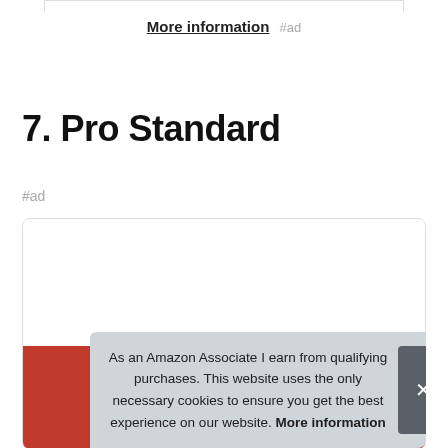More information #ad
7. Pro Standard
#ad
[Figure (other): Product card with red background and golden arches (McDonald's logo style) partially visible at bottom]
As an Amazon Associate I earn from qualifying purchases. This website uses the only necessary cookies to ensure you get the best experience on our website. More information